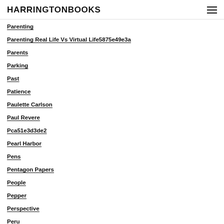HARRINGTONBOOKS
Parenting
Parenting Real Life Vs Virtual Life5875e49e3a
Parents
Parking
Past
Patience
Paulette Carlson
Paul Revere
Pca51e3d3de2
Pearl Harbor
Pens
Pentagon Papers
People
Pepper
Perspective
Peru
P F Changd83c9ecddf